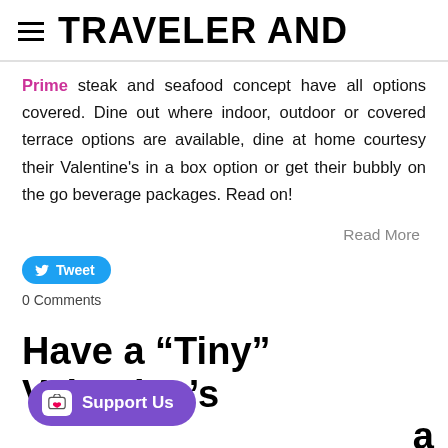TRAVELER AND
Prime steak and seafood concept have all options covered. Dine out where indoor, outdoor or covered terrace options are available, dine at home courtesy their Valentine's in a box option or get their bubbly on the go beverage packages. Read on!
Read More
Tweet
0 Comments
Have a “Tiny” Valentine’s a Tiny House
Support Us